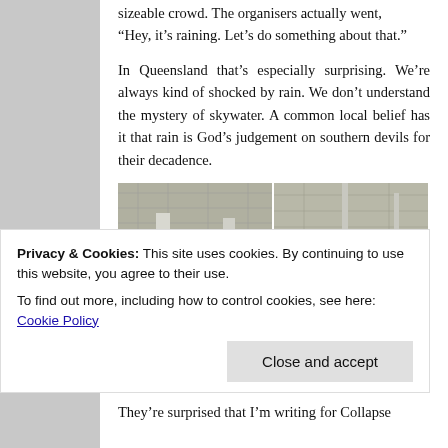sizeable crowd. The organisers actually went, “Hey, it’s raining. Let’s do something about that.”
In Queensland that’s especially surprising. We’re always kind of shocked by rain. We don’t understand the mystery of skywater. A common local belief has it that rain is God’s judgement on southern devils for their decadence.
[Figure (photo): Two side-by-side photos of an outdoor venue with a large metal roof/canopy structure supported by white pillars, with a crowd of people gathered below. A blue tent is visible on the left side.]
Privacy & Cookies: This site uses cookies. By continuing to use this website, you agree to their use.
To find out more, including how to control cookies, see here: Cookie Policy
They’re surprised that I’m writing for Collapse